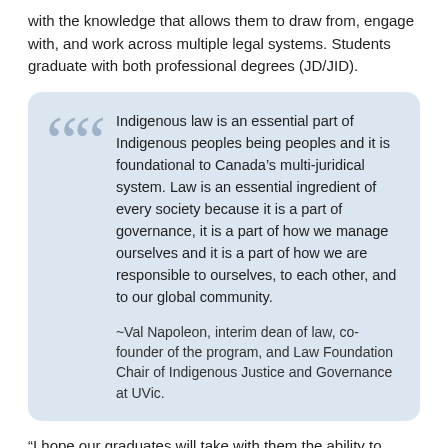with the knowledge that allows them to draw from, engage with, and work across multiple legal systems. Students graduate with both professional degrees (JD/JID).
Indigenous law is an essential part of Indigenous peoples being peoples and it is foundational to Canada’s multi-juridical system. Law is an essential ingredient of every society because it is a part of governance, it is a part of how we manage ourselves and it is a part of how we are responsible to ourselves, to each other, and to our global community.

~Val Napoleon, interim dean of law, co-founder of the program, and Law Foundation Chair of Indigenous Justice and Governance at UVic.
“I hope our graduates will take with them the ability to centre Indigenous law in the world as a collaborative and principled way to solve problems, so that is never reduced to just words on paper, because it is so much more than that,” says Napoleon.
The first class of 23 students will celebrate their collective accomplishments during a special recognition event on April 9 and formally receive their degrees during UVic convocation ceremonies in June. The evening event takes place at the Songhees Wellness Centre where students will gather with